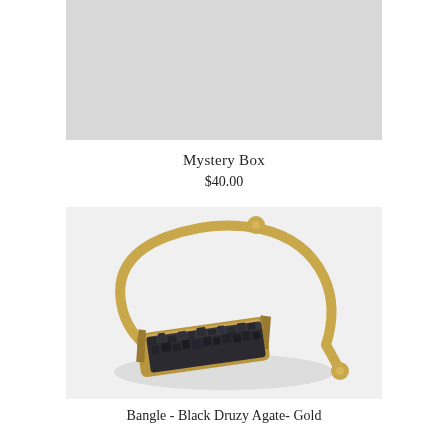[Figure (photo): Gray/light product image placeholder at top, partially visible.]
Mystery Box
$40.00
[Figure (photo): Gold cuff bangle bracelet with black druzy agate bar stone set in a rectangular gold bar, open cuff with gold ball ends, photographed on white/gray background.]
Bangle - Black Druzy Agate- Gold